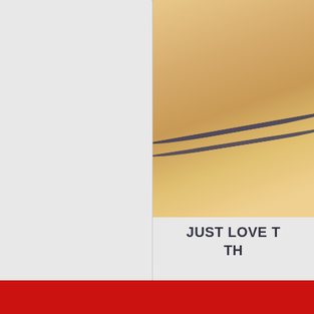[Figure (photo): Partial photo showing what appear to be two dark diagonal scratch or claw marks on a warm orange-tan background, cropped on the right side of the page.]
JUST LOVE T
TH